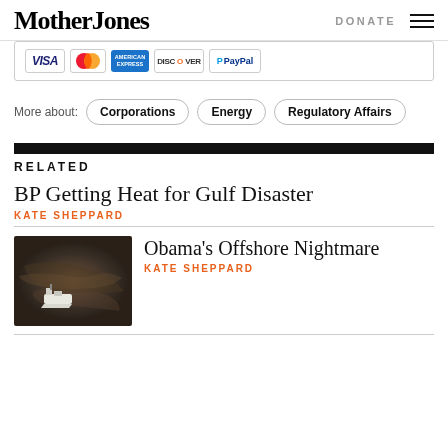Mother Jones | DONATE
[Figure (other): Payment logos: VISA, MasterCard, American Express, Discover, PayPal]
More about: Corporations | Energy | Regulatory Affairs
RELATED
BP Getting Heat for Gulf Disaster
KATE SHEPPARD
[Figure (photo): Aerial photo of oil spill with a ship visible against dark oil-covered water]
Obama's Offshore Nightmare
KATE SHEPPARD